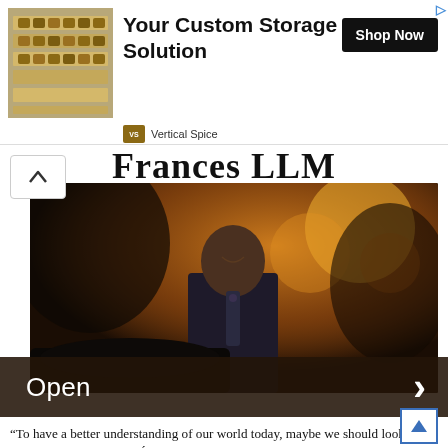[Figure (other): Advertisement banner: spice rack storage product image on left, bold headline 'Your Custom Storage Solution', Shop Now button, Vertical Spice brand logo]
Frances LLM
[Figure (photo): Photograph of a man in a dark suit and tie, smiling, standing outdoors with warm golden bokeh background]
Open
"To have a better understanding of our world today, maybe we should look back sometimes," said Pierre-Étienne Bourneuf, a historian working on the project. "The foundations of our international system were actually laid in 1919."